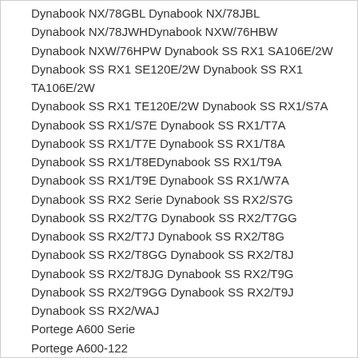Dynabook NX/78GBL Dynabook NX/78JBL
Dynabook NX/78JWHDynabook NXW/76HBW
Dynabook NXW/76HPW Dynabook SS RX1 SA106E/2W
Dynabook SS RX1 SE120E/2W Dynabook SS RX1 TA106E/2W
Dynabook SS RX1 TE120E/2W Dynabook SS RX1/S7A
Dynabook SS RX1/S7E Dynabook SS RX1/T7A
Dynabook SS RX1/T7E Dynabook SS RX1/T8A
Dynabook SS RX1/T8EDynabook SS RX1/T9A
Dynabook SS RX1/T9E Dynabook SS RX1/W7A
Dynabook SS RX2 Serie Dynabook SS RX2/S7G
Dynabook SS RX2/T7G Dynabook SS RX2/T7GG
Dynabook SS RX2/T7J Dynabook SS RX2/T8G
Dynabook SS RX2/T8GG Dynabook SS RX2/T8J
Dynabook SS RX2/T8JG Dynabook SS RX2/T9G
Dynabook SS RX2/T9GG Dynabook SS RX2/T9J
Dynabook SS RX2/WAJ
Portege A600 Serie
Portege A600-122
Portege A600-12O Portege A600-12X